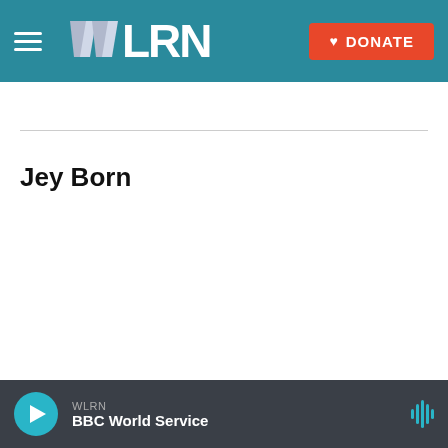WLRN — DONATE
Jey Born
[Figure (screenshot): Advertisement banner: blue background with white bold text reading 'DOES YOUR BUSINESS SUPPORT INDEPENDENT JOURNALISM? JOIN CORPORATE' with a close button in upper right]
WLRN — BBC World Service (audio player bar)